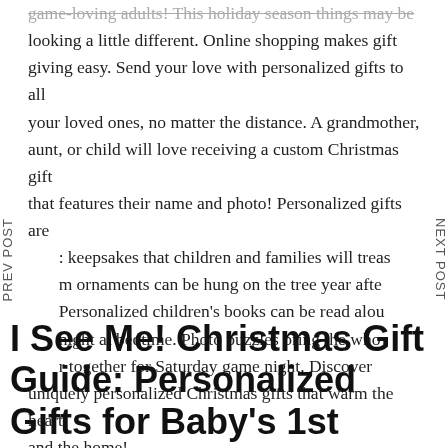game-loving adults! This holiday season things may be looking a little different. Online shopping makes gift giving easy. Send your love with personalized gifts to all your loved ones, no matter the distance. A grandmother, aunt, or child will love receiving a custom Christmas gift that features their name and photo! Personalized gifts are : keepsakes that children and families will treas m ornaments can be hung on the tree year afte Personalized children's books can be read alou night at bedtime. Photo puzzles bring the who together for Saturday game night. Discover uniquely personalized Christmas gifts that warm the heart and the home!
PREV POST
NEXT POST
I See Me! Christmas Gift Guide: Personalized Gifts for Baby's 1st Christmas